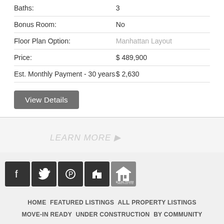| Label | Value |
| --- | --- |
| Baths: | 3 |
| Bonus Room: | No |
| Floor Plan Option: | Manhattan Layout |
| Price: | $ 489,900 |
| Est. Monthly Payment - 30 years | $ 2,630 |
View Details
[Figure (infographic): Social media icons: Facebook, Twitter, Pinterest, Houzz, Equal Housing Lender]
HOME | FEATURED LISTINGS | ALL PROPERTY LISTINGS | MOVE-IN READY | UNDER CONSTRUCTION | BY COMMUNITY | FLOOR PLAN STUDIO
P.O. Box 986 | Ridgeland, MS 39158
See our PRIVACY POLICY
Website Design by THE OMEGA GROUP